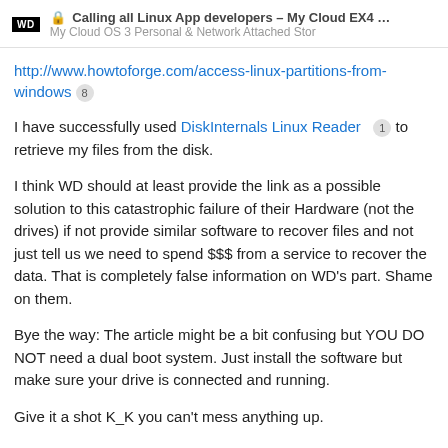Calling all Linux App developers – My Cloud EX4 ... | My Cloud OS 3 Personal & Network Attached Stor
http://www.howtoforge.com/access-linux-partitions-from-windows 8
I have successfully used DiskInternals Linux Reader 1 to retrieve my files from the disk.
I think WD should at least provide the link as a possible solution to this catastrophic failure of their Hardware (not the drives) if not provide similar software to recover files and not just tell us we need to spend $$$ from a service to recover the data. That is completely false information on WD’s part. Shame on them.
Bye the way: The article might be a bit confusing but YOU DO NOT need a dual boot system. Just install the software but make sure your drive is connected and running.
Give it a shot K_K you can't mess anything up.
Peace